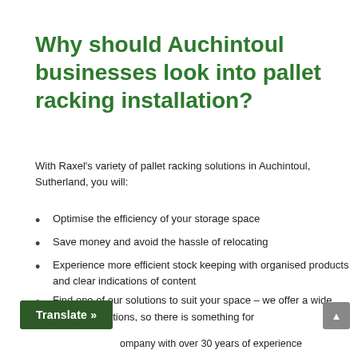Why should Auchintoul businesses look into pallet racking installation?
With Raxel's variety of pallet racking solutions in Auchintoul, Sutherland, you will:
Optimise the efficiency of your storage space
Save money and avoid the hassle of relocating
Experience more efficient stock keeping with organised products and clear indications of content
Find one of our solutions to suit your space – we offer a wide range of solutions, so there is something for
ompany with over 30 years of experience